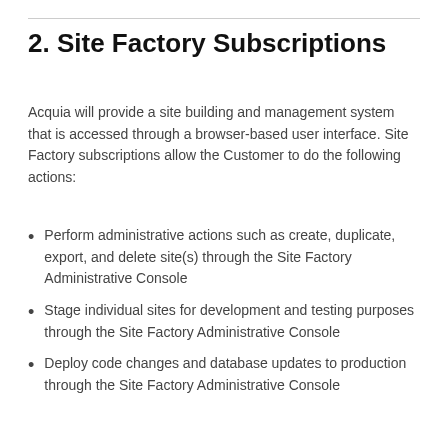2. Site Factory Subscriptions
Acquia will provide a site building and management system that is accessed through a browser-based user interface. Site Factory subscriptions allow the Customer to do the following actions:
Perform administrative actions such as create, duplicate, export, and delete site(s) through the Site Factory Administrative Console
Stage individual sites for development and testing purposes through the Site Factory Administrative Console
Deploy code changes and database updates to production through the Site Factory Administrative Console